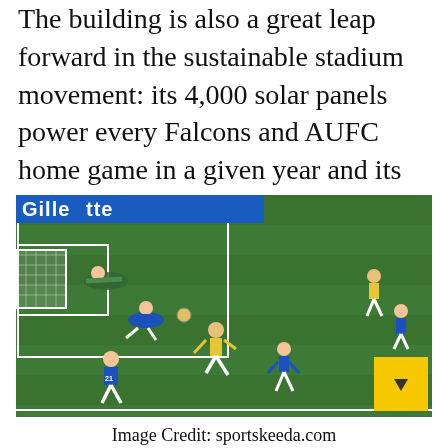The building is also a great leap forward in the sustainable stadium movement: its 4,000 solar panels power every Falcons and AUFC home game in a given year and its water capture system helps cool the building naturally.
[Figure (photo): A soccer/football match in progress, aerial view of a goal area with players in blue kit and yellow kit, a ball near the goal, green grass pitch, white goal lines and netting visible, Gillette advertising board in background.]
Image Credit: sportskeeda.com